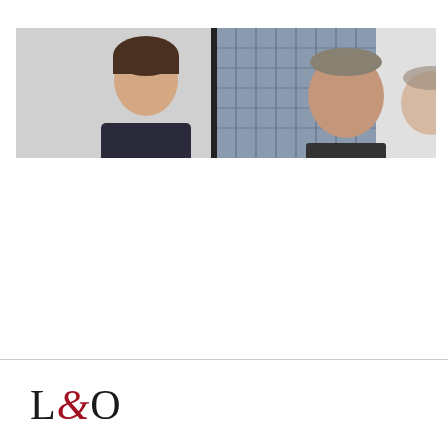[Figure (photo): Cropped horizontal photo strip showing two or three people (professionals) in an office or meeting environment. A tall glass building is visible in the background. The image is cut off at the top and right edge.]
[Figure (logo): L&O law firm logo in large serif font. 'L' and 'O' are in dark/black, '&' ampersand is in dark red/crimson italic.]